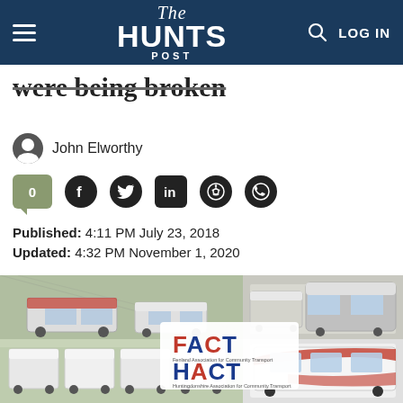The HUNTS POST — LOG IN
were being broken
John Elworthy
Published: 4:11 PM July 23, 2018
Updated: 4:32 PM November 1, 2020
[Figure (photo): Collage of community transport minivans/buses with FACT and HACT logos overlaid in the center]